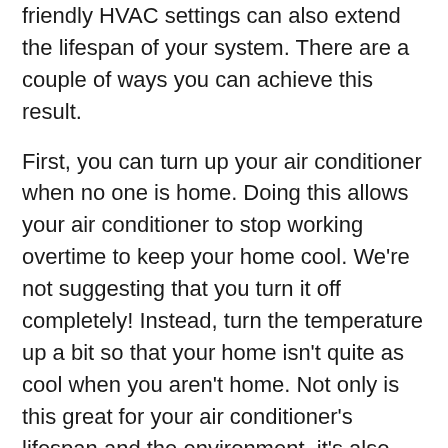friendly HVAC settings can also extend the lifespan of your system. There are a couple of ways you can achieve this result.
First, you can turn up your air conditioner when no one is home. Doing this allows your air conditioner to stop working overtime to keep your home cool. We're not suggesting that you turn it off completely! Instead, turn the temperature up a bit so that your home isn't quite as cool when you aren't home. Not only is this great for your air conditioner's lifespan and the environment, it's also great for your pocketbook! Reduced energy expenditures will save you money in the short- and long-term.
Another way you can be eco-friendly is to use a thermostat with built-in eco-friendly settings. Nest thermostats have several settings available that make eco-friendly choices easy! This includes an all-encompassing eco mode which